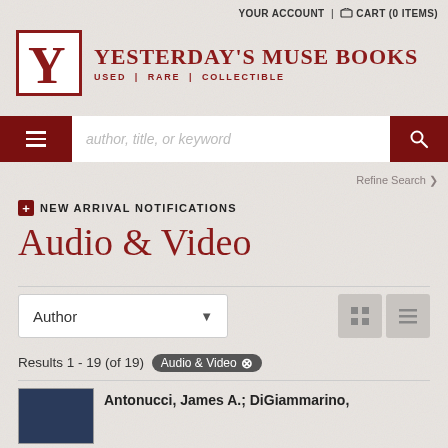YOUR ACCOUNT | CART (0 ITEMS)
[Figure (logo): Yesterday's Muse Books logo with Y monogram in red bordered box]
Yesterday's Muse Books — Used | Rare | Collectible
author, title, or keyword (search bar)
Refine Search
NEW ARRIVAL NOTIFICATIONS
Audio & Video
Author (sort dropdown)
Results 1 - 19 (of 19)  Audio & Video ✕
Antonucci, James A.; DiGiammarino,